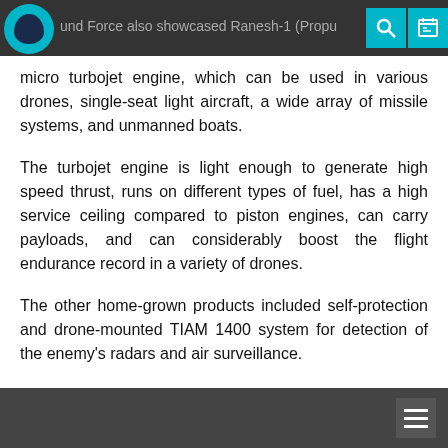und Force also showcased Ranesh-1 (Propu... micro turbojet engine, which can be used in various drones,
micro turbojet engine, which can be used in various drones, single-seat light aircraft, a wide array of missile systems, and unmanned boats.
The turbojet engine is light enough to generate high speed thrust, runs on different types of fuel, has a high service ceiling compared to piston engines, can carry payloads, and can considerably boost the flight endurance record in a variety of drones.
The other home-grown products included self-protection and drone-mounted TIAM 1400 system for detection of the enemy’s radars and air surveillance.
[Figure (photo): Broken image placeholder]